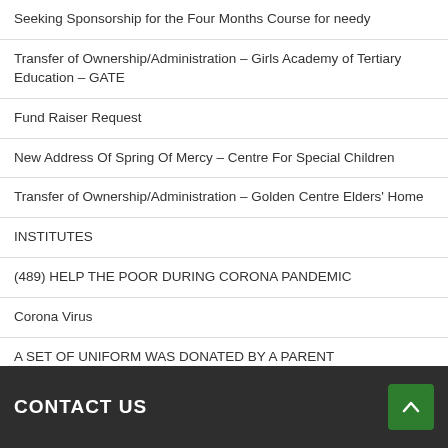Seeking Sponsorship for the Four Months Course for needy
Transfer of Ownership/Administration – Girls Academy of Tertiary Education – GATE
Fund Raiser Request
New Address Of Spring Of Mercy – Centre For Special Children
Transfer of Ownership/Administration – Golden Centre Elders' Home
INSTITUTES
(489) HELP THE POOR DURING CORONA PANDEMIC
Corona Virus
A SET OF UNIFORM WAS DONATED BY A PARENT
DURING THE STUDY TIME @SPRING OF MERCY
CONTACT US